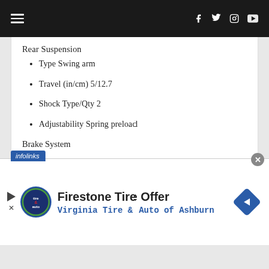Navigation header with hamburger menu and social icons (Facebook, Twitter, Instagram, YouTube)
Rear Suspension
Type Swing arm
Travel (in/cm) 5/12.7
Shock Type/Qty 2
Adjustability Spring preload
Brake System
[Figure (screenshot): Advertisement banner: Firestone Tire Offer — Virginia Tire & Auto of Ashburn, with infolinks label and navigation arrow icon]